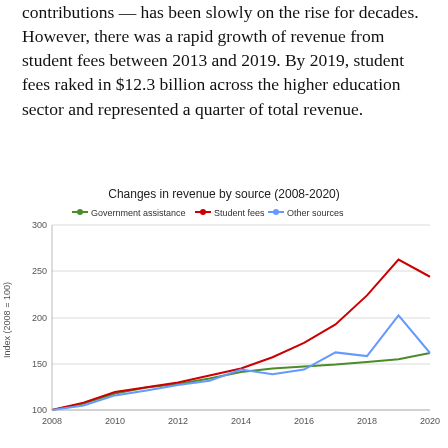contributions — has been slowly on the rise for decades. However, there was a rapid growth of revenue from student fees between 2013 and 2019. By 2019, student fees raked in $12.3 billion across the higher education sector and represented a quarter of total revenue.
[Figure (line-chart): Changes in revenue by source (2008-2020)]